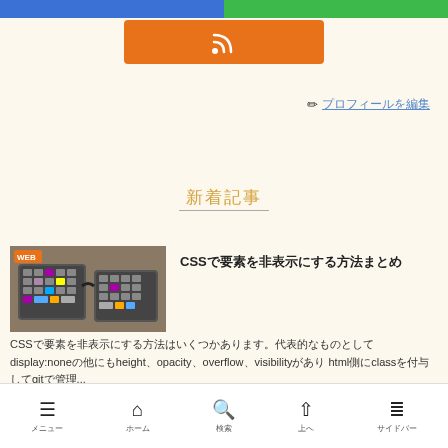[Figure (other): Top navigation buttons: blue button on left, green button on right]
[Figure (other): Orange RSS feed button with WiFi/RSS icon]
✏ プロフィールを編集
新着記事
[Figure (photo): Photo of split mechanical keyboard with colorful keycaps on a wooden desk, with WEB badge overlay]
CSSで要素を非表示にする方法まとめ
CSSで要素を非表示にする方法はいくつかあります。代表的なものとして display:noneの他にもheight、opacity、overflow、visibilityがあり html側にclassを付与してgitで管理...
メニュー　ホーム　検索　上へ　サイドバー